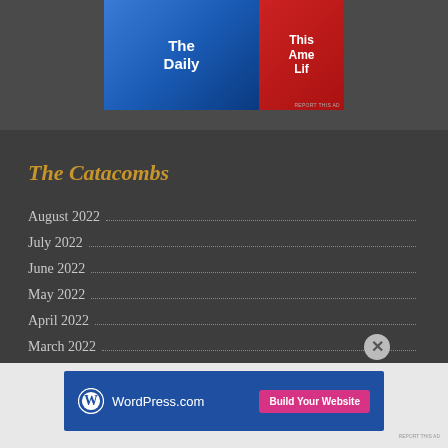[Figure (screenshot): Top advertisement banner showing 'The Daily' podcast on blue background and 'This American Life' on red background]
The Catacombs
August 2022
July 2022
June 2022
May 2022
April 2022
March 2022
[Figure (screenshot): WordPress.com advertisement with blue background, WordPress logo, URL text and pink 'Build Your Website' button]